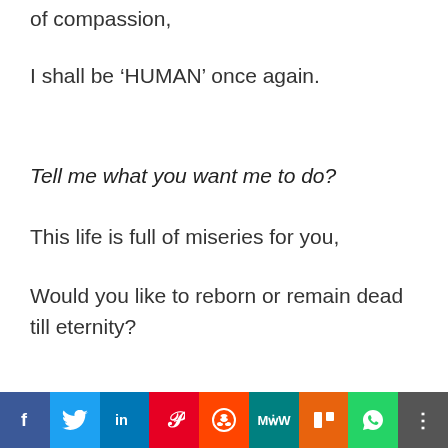of compassion,
I shall be ‘HUMAN’ once again.
Tell me what you want me to do?
This life is full of miseries for you,
Would you like to reborn or remain dead till eternity?
[Figure (other): Social media sharing bar with icons for Facebook, Twitter, LinkedIn, Pinterest, Reddit, MixedWeekly, Mix, WhatsApp, and More]